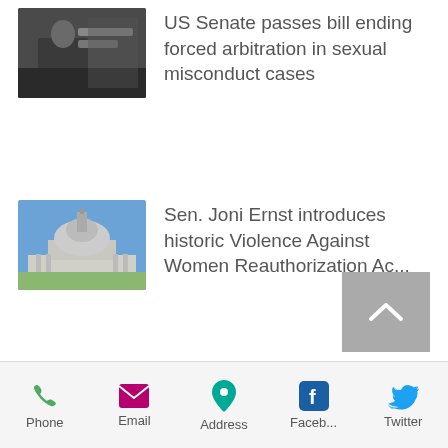[Figure (photo): Person at desk, US Senate scene]
US Senate passes bill ending forced arbitration in sexual misconduct cases
[Figure (photo): US Capitol building dome]
Sen. Joni Ernst introduces historic Violence Against Women Reauthorization Ac...
[Figure (photo): Legislative chamber interior with rows of seats]
Find out what IowaCASA's been up to at the Legislature
[Figure (photo): Building exterior with green landscape]
January Newsletter: January 10 marks first day of Iowa's
Phone  Email  Address  Faceb...  Twitter